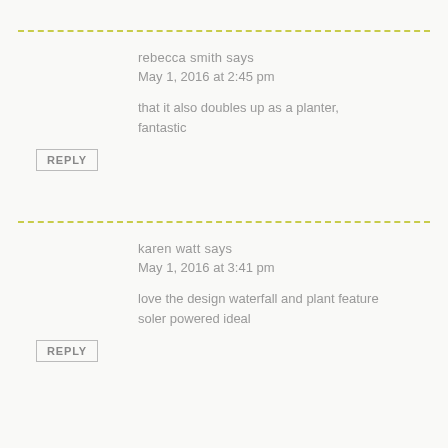rebecca smith says
May 1, 2016 at 2:45 pm
that it also doubles up as a planter, fantastic
REPLY
karen watt says
May 1, 2016 at 3:41 pm
love the design waterfall and plant feature soler powered ideal
REPLY